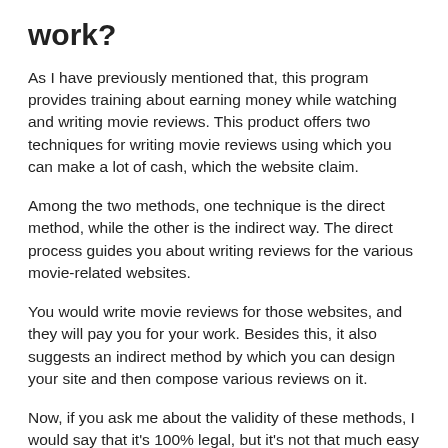work?
As I have previously mentioned that, this program provides training about earning money while watching and writing movie reviews. This product offers two techniques for writing movie reviews using which you can make a lot of cash, which the website claim.
Among the two methods, one technique is the direct method, while the other is the indirect way. The direct process guides you about writing reviews for the various movie-related websites.
You would write movie reviews for those websites, and they will pay you for your work. Besides this, it also suggests an indirect method by which you can design your site and then compose various reviews on it.
Now, if you ask me about the validity of these methods, I would say that it's 100% legal, but it's not that much easy like Movie Review Profits represent.